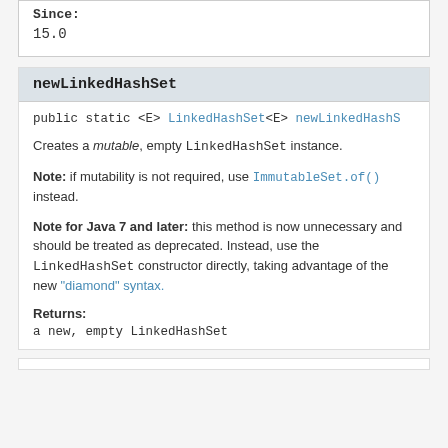Since:
15.0
newLinkedHashSet
public static <E> LinkedHashSet<E> newLinkedHashSet
Creates a mutable, empty LinkedHashSet instance.
Note: if mutability is not required, use ImmutableSet.of() instead.
Note for Java 7 and later: this method is now unnecessary and should be treated as deprecated. Instead, use the LinkedHashSet constructor directly, taking advantage of the new "diamond" syntax.
Returns:
a new, empty LinkedHashSet